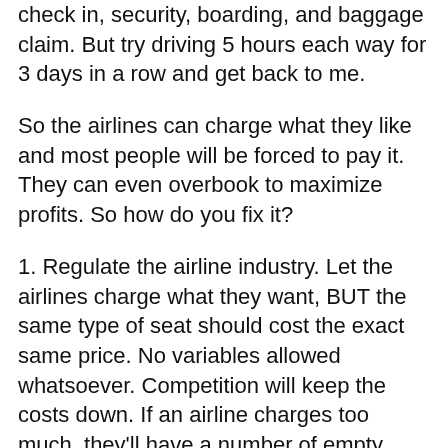check in, security, boarding, and baggage claim. But try driving 5 hours each way for 3 days in a row and get back to me.
So the airlines can charge what they like and most people will be forced to pay it. They can even overbook to maximize profits. So how do you fix it?
1. Regulate the airline industry. Let the airlines charge what they want, BUT the same type of seat should cost the exact same price. No variables allowed whatsoever. Competition will keep the costs down. If an airline charges too much, they'll have a number of empty seats. If the airlines collude to set prices, well, that opens up a whole new can of worms. For starters, it's illegal. But it's also difficult to prove. And now, with all the airline mergers and four airlines controlling 85% of the domestic travel, the